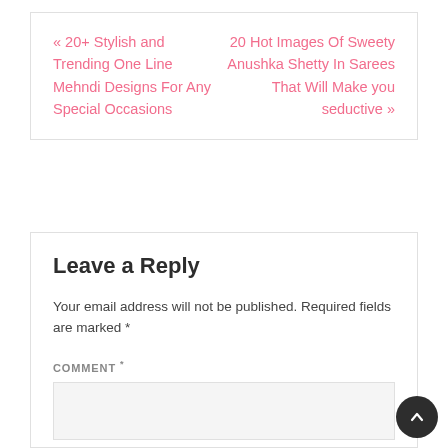« 20+ Stylish and Trending One Line Mehndi Designs For Any Special Occasions
20 Hot Images Of Sweety Anushka Shetty In Sarees That Will Make you seductive »
Leave a Reply
Your email address will not be published. Required fields are marked *
COMMENT *